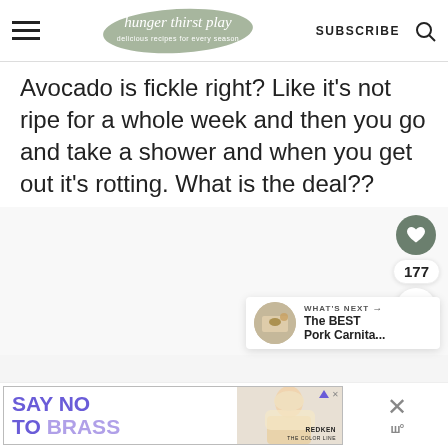hunger thirst play — delicious recipes for every season — SUBSCRIBE
Avocado is fickle right? Like it's not ripe for a whole week and then you go and take a shower and when you get out it's rotting. What is the deal??
[Figure (infographic): Social sidebar with heart/like button showing 177 count, and share button]
[Figure (infographic): What's Next panel showing The BEST Pork Carnita... with thumbnail]
[Figure (infographic): Advertisement banner: SAY NO TO BRASS, Redken, with model photo]